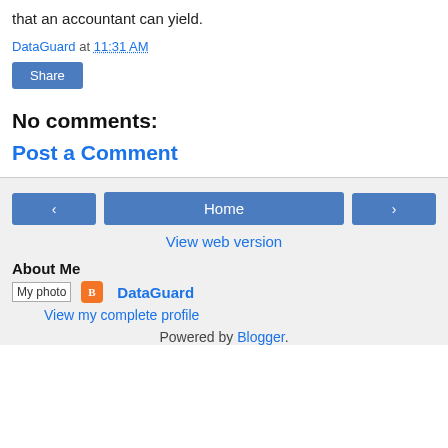that an accountant can yield.
DataGuard at 11:31 AM
Share
No comments:
Post a Comment
‹ Home ›
View web version
About Me
My photo  DataGuard
View my complete profile
Powered by Blogger.